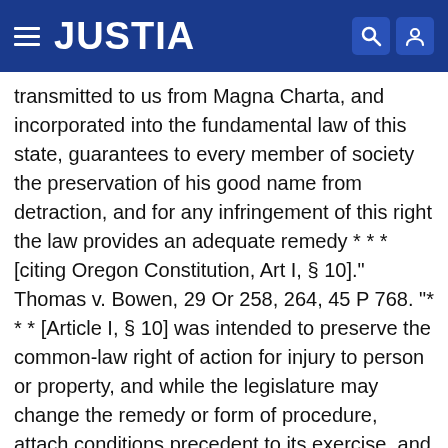JUSTIA
transmitted to us from Magna Charta, and incorporated into the fundamental law of this state, guarantees to every member of society the preservation of his good name from detraction, and for any infringement of this right the law provides an adequate remedy * * * [citing Oregon Constitution, Art I, § 10]." Thomas v. Bowen, 29 Or 258, 264, 45 P 768. "* * * [Article I, § 10] was intended to preserve the common-law right of action for injury to person or property, and while the legislature may change the remedy or form of procedure, attach conditions precedent to its exercise, and perhaps abolish old and substitute new remedies * * * [citing cases], it can not deny a remedy entirely * * *." Mattson v. Astoria, 39 Or 577, 580, 65 P 1066. *421 "* * * [E]ver since the cases of Mattson v. Astoria [supra] * * * and Batdorff v. Oregon City, 53 Or. 402 (100 Pac. 937, 188 Ann. Cas. 287, 8 N.C.C.A. 142, note), it has been the